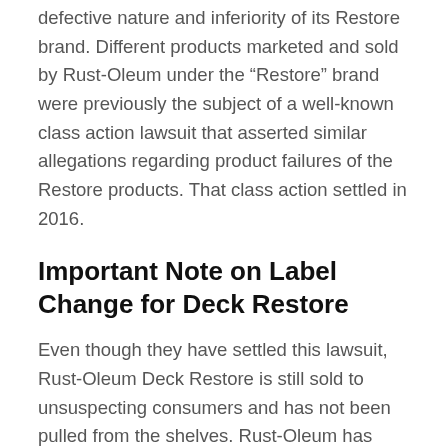defective nature and inferiority of its Restore brand. Different products marketed and sold by Rust-Oleum under the “Restore” brand were previously the subject of a well-known class action lawsuit that asserted similar allegations regarding product failures of the Restore products. That class action settled in 2016.
Important Note on Label Change for Deck Restore
Even though they have settled this lawsuit, Rust-Oleum Deck Restore is still sold to unsuspecting consumers and has not been pulled from the shelves. Rust-Oleum has changed to a newer, relabeled version of their Rust-Oleum Deck Restore. The line is now called Rust-Oleum Rock Solid.  According to consumer feedback, Rust-Oleum Rock Solid is not